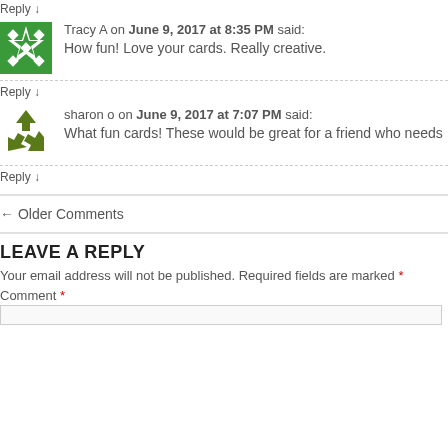Reply ↓
Tracy A on June 9, 2017 at 8:35 PM said: How fun! Love your cards. Really creative.
Reply ↓
sharon o on June 9, 2017 at 7:07 PM said: What fun cards! These would be great for a friend who needs
Reply ↓
← Older Comments
LEAVE A REPLY
Your email address will not be published. Required fields are marked *
Comment *